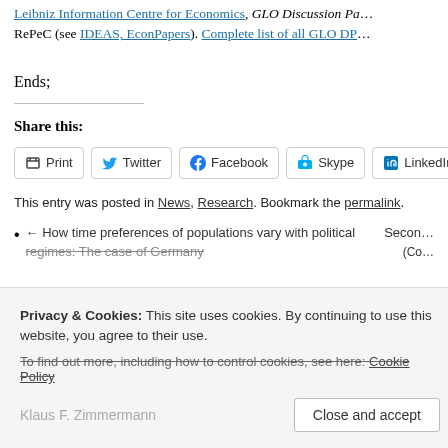Leibniz Information Centre for Economics, GLO Discussion Pa... RePeC (see IDEAS, EconPapers). Complete list of all GLO DP...
Ends;
Share this:
Print  Twitter  Facebook  Skype  LinkedIn
This entry was posted in News, Research. Bookmark the permalink.
← How time preferences of populations vary with political regimes: The case of Germany
Privacy & Cookies: This site uses cookies. By continuing to use this website, you agree to their use.
To find out more, including how to control cookies, see here: Cookie Policy
Klaus F. Zimmermann
Close and accept